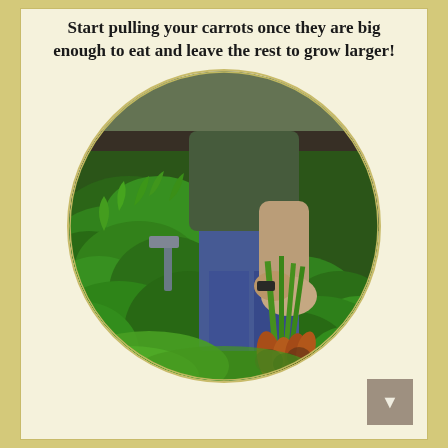Start pulling your carrots once they are big enough to eat and leave the rest to grow larger!
[Figure (photo): Circular photo of a person harvesting a bunch of carrots with dirt on the roots from a lush green carrot garden bed.]